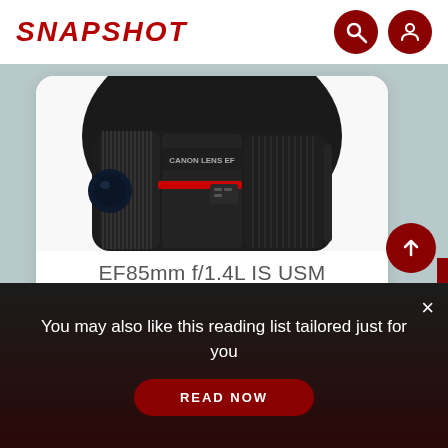SNAPSHOT
[Figure (logo): Search icon - magnifying glass in dark red circle]
[Figure (photo): Canon EF 85mm f/1.4L IS USM camera lens photographed from above on white background]
EF85mm f/1.4L IS USM
You may also like this reading list tailored just for you
READ NOW